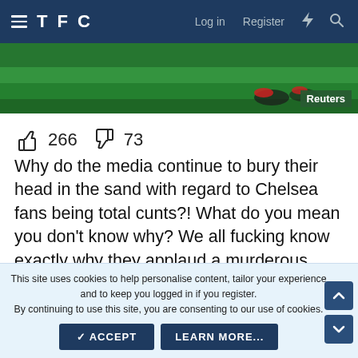TFC — Log in  Register
[Figure (photo): Partial view of soccer/football players' feet on green grass pitch, with Reuters watermark badge in bottom-right corner]
👍 266  👎 73
Why do the media continue to bury their head in the sand with regard to Chelsea fans being total cunts?! What do you mean you don't know why? We all fucking know exactly why they applaud a murderous cunt like Alonso.
👍 1
This site uses cookies to help personalise content, tailor your experience and to keep you logged in if you register.
By continuing to use this site, you are consenting to our use of cookies.